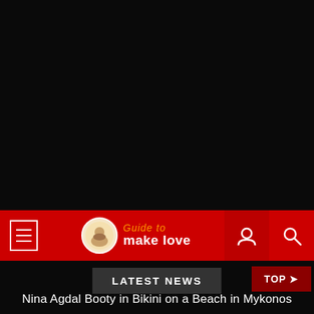[Figure (screenshot): Black background area (top portion of webpage screenshot)]
Guide to make love
LATEST NEWS
Nina Agdal Booty in Bikini on a Beach in Mykonos